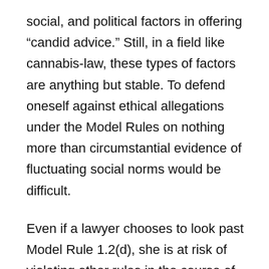social, and political factors in offering “candid advice.” Still, in a field like cannabis-law, these types of factors are anything but stable. To defend oneself against ethical allegations under the Model Rules on nothing more than circumstantial evidence of fluctuating social norms would be difficult.
Even if a lawyer chooses to look past Model Rule 1.2(d), she is at risk of violating other rules in the course of fully and competently representing her cannabis client. Model Rule 8.4(b) and (c) state: “It is professional misconduct for a lawyer to: (b) commit a criminal act that reflects adversely on the lawyer’s honesty, trustworthiness or fitness as a lawyer in other respects; or (c) engage in conduct involving dishonesty, fraud, deceit or misrepresentation.”